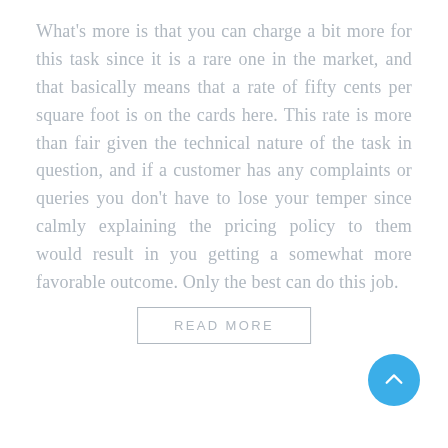What's more is that you can charge a bit more for this task since it is a rare one in the market, and that basically means that a rate of fifty cents per square foot is on the cards here. This rate is more than fair given the technical nature of the task in question, and if a customer has any complaints or queries you don't have to lose your temper since calmly explaining the pricing policy to them would result in you getting a somewhat more favorable outcome. Only the best can do this job.
READ MORE